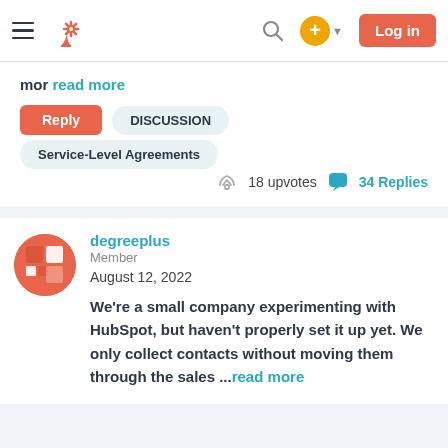HubSpot Community navigation bar with hamburger menu, HubSpot logo, search icon, plus button, and Log in button
mor read more
Reply | DISCUSSION | Service-Level Agreements
18 upvotes  34 Replies
degreeplus
Member
August 12, 2022
We're a small company experimenting with HubSpot, but haven't properly set it up yet. We only collect contacts without moving them through the sales ...read more